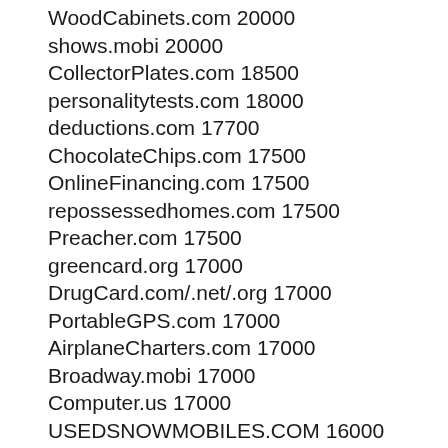WoodCabinets.com 20000
shows.mobi 20000
CollectorPlates.com 18500
personalitytests.com 18000
deductions.com 17700
ChocolateChips.com 17500
OnlineFinancing.com 17500
repossessedhomes.com 17500
Preacher.com 17500
greencard.org 17000
DrugCard.com/.net/.org 17000
PortableGPS.com 17000
AirplaneCharters.com 17000
Broadway.mobi 17000
Computer.us 17000
USEDSNOWMOBILES.COM 16000
Hollywood.mobi 16000